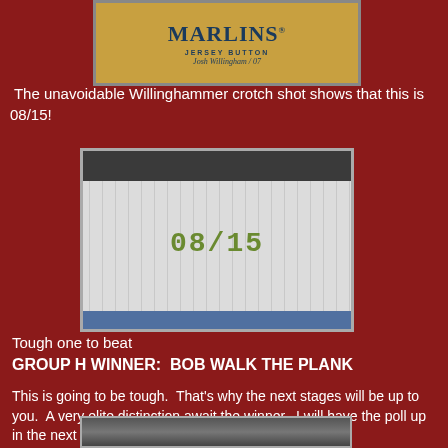[Figure (photo): Marlins Jersey Button card for Josh Willingham #07, yellow/tan background with navy text]
The unavoidable Willinghammer crotch shot shows that this is 08/15!
[Figure (photo): Close-up photo of baseball player pants/uniform showing '08/15' stamped in gold/olive text on pinstripe pants fabric, with black belt at top and blue area at bottom]
Tough one to beat
GROUP H WINNER:  BOB WALK THE PLANK
This is going to be tough.  That's why the next stages will be up to you.  A very elite distinction await the winner.  I will have the poll up in the next few days.
[Figure (photo): Partial bottom strip of another photo, cropped]